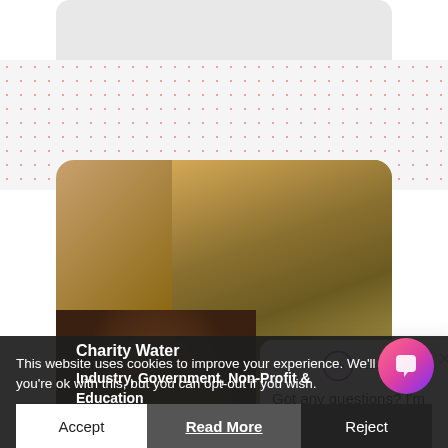[Figure (screenshot): Top gray card area at top of page]
[Figure (photo): Smiling Black woman with curly hair in front of leafy tree branches, outdoor photo]
[Figure (screenshot): Chat popup with a logo reading 'ucadviser', an X close button, and text: Got any questions? I'm happy to help.]
Got any questions? I'm happy to help.
This website uses cookies to improve your experience. We'll assume you're ok with this, but you can opt-out if you wish.
Charity Water
Industry, Government, Non-Profit & Education